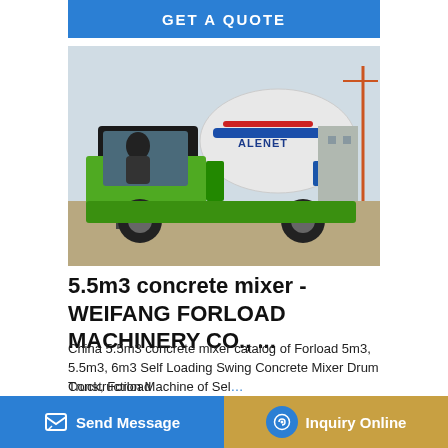GET A QUOTE
[Figure (photo): A green self-loading concrete mixer truck (ALENET brand) with a driver seated in the cab, photographed outdoors at a construction site. The truck has a white rotating drum with blue stripe branding and ladder access steps.]
5.5m3 concrete mixer - WEIFANG FORLOAD MACHINERY CO., ...
China 5.5m3 concrete mixer catalog of Forload 5m3, 5.5m3, 6m3 Self Loading Swing Concrete Mixer Drum Truck, Forload Construction Machinery of Self... Forload S... China ma... FORLOAD MACHINERY CO., LTD., page1.
Send Message
Inquiry Online